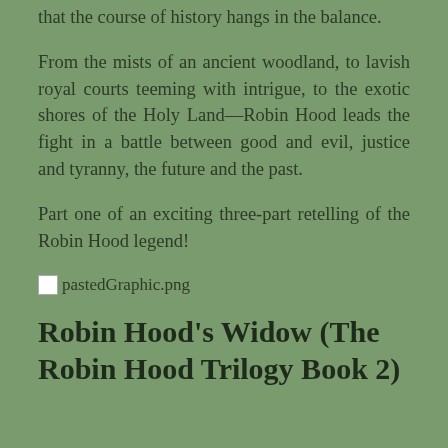that the course of history hangs in the balance.
From the mists of an ancient woodland, to lavish royal courts teeming with intrigue, to the exotic shores of the Holy Land—Robin Hood leads the fight in a battle between good and evil, justice and tyranny, the future and the past.
Part one of an exciting three-part retelling of the Robin Hood legend!
[Figure (other): Small placeholder image icon labeled pastedGraphic.png]
Robin Hood's Widow (The Robin Hood Trilogy Book 2)